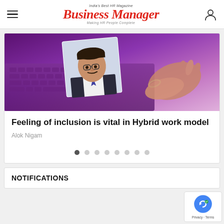India's Best HR Magazine | Business Manager | Making HR People Complete
[Figure (photo): Article featured image showing a laptop with keyboard in purple tones, with an inset portrait photo of a man with glasses (Alok Nigam) overlaid on the image, and a hand visible on the right side.]
Feeling of inclusion is vital in Hybrid work model
Alok Nigam
NOTIFICATIONS